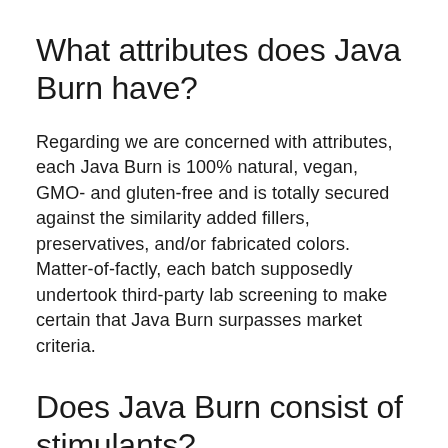What attributes does Java Burn have?
Regarding we are concerned with attributes, each Java Burn is 100% natural, vegan, GMO- and gluten-free and is totally secured against the similarity added fillers, preservatives, and/or fabricated colors. Matter-of-factly, each batch supposedly undertook third-party lab screening to make certain that Java Burn surpasses market criteria.
Does Java Burn consist of stimulants?